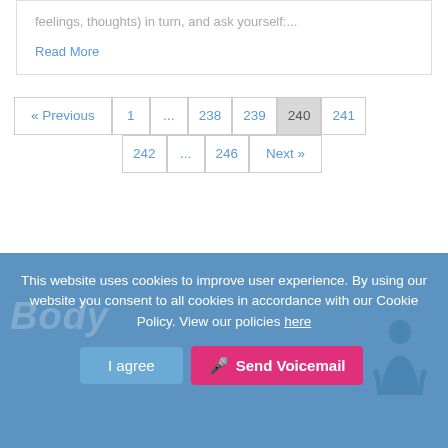feelings, thoughts) in turn, and ask yourself:...
Read More
« Previous  1  ...  238  239  240  241  242  ...  246  Next »
This website uses cookies to improve user experience. By using our website you consent to all cookies in accordance with our Cookie Policy. View our policies here
I agree
Send Voicemail